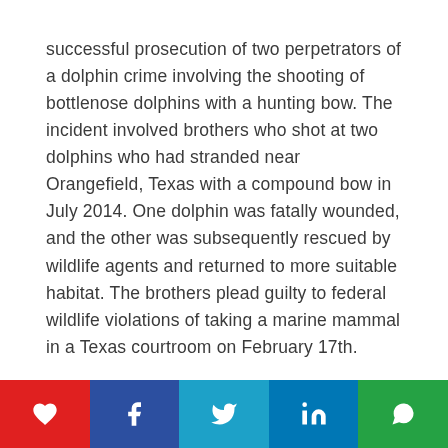successful prosecution of two perpetrators of a dolphin crime involving the shooting of bottlenose dolphins with a hunting bow. The incident involved brothers who shot at two dolphins who had stranded near Orangefield, Texas with a compound bow in July 2014. One dolphin was fatally wounded, and the other was subsequently rescued by wildlife agents and returned to more suitable habitat. The brothers plead guilty to federal wildlife violations of taking a marine mammal in a Texas courtroom on February 17th.
[Figure (other): Social sharing bar with heart/like, Facebook, Twitter, LinkedIn, and WhatsApp buttons]